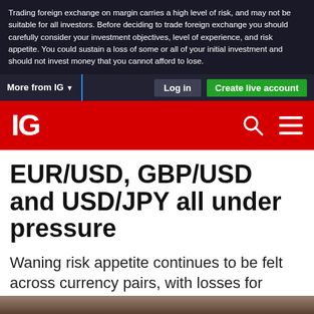Trading foreign exchange on margin carries a high level of risk, and may not be suitable for all investors. Before deciding to trade foreign exchange you should carefully consider your investment objectives, level of experience, and risk appetite. You could sustain a loss of some or all of your initial investment and should not invest money that you cannot afford to lose.
More from IG  |  Log in  |  Create live account
[Figure (logo): IG logo in white on red background with search and menu icons]
EUR/USD, GBP/USD and USD/JPY all under pressure
Waning risk appetite continues to be felt across currency pairs, with losses for EUR/USD, GBP/USD and USD/JPY.
[Figure (photo): Partial image at bottom of page, dark tones, appears to be coins or financial imagery]